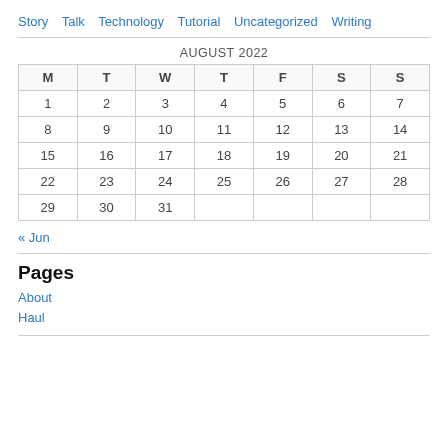Story  Talk  Technology  Tutorial  Uncategorized  Writing
| M | T | W | T | F | S | S |
| --- | --- | --- | --- | --- | --- | --- |
| 1 | 2 | 3 | 4 | 5 | 6 | 7 |
| 8 | 9 | 10 | 11 | 12 | 13 | 14 |
| 15 | 16 | 17 | 18 | 19 | 20 | 21 |
| 22 | 23 | 24 | 25 | 26 | 27 | 28 |
| 29 | 30 | 31 |  |  |  |  |
« Jun
Pages
About
Haul